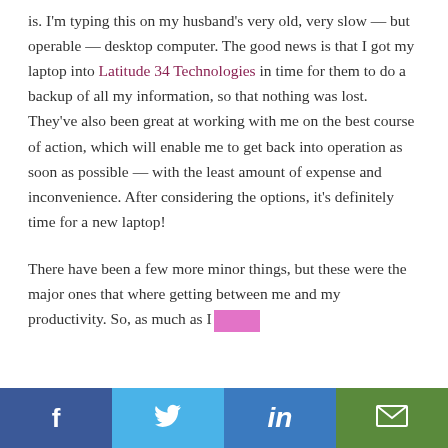is. I'm typing this on my husband's very old, very slow — but operable — desktop computer. The good news is that I got my laptop into Latitude 34 Technologies in time for them to do a backup of all my information, so that nothing was lost. They've also been great at working with me on the best course of action, which will enable me to get back into operation as soon as possible — with the least amount of expense and inconvenience. After considering the options, it's definitely time for a new laptop!
There have been a few more minor things, but these were the major ones that where getting between me and my productivity. So, as much as I
[Figure (other): Social media sharing bar with Facebook, Twitter, LinkedIn, and email buttons at the bottom of the page]